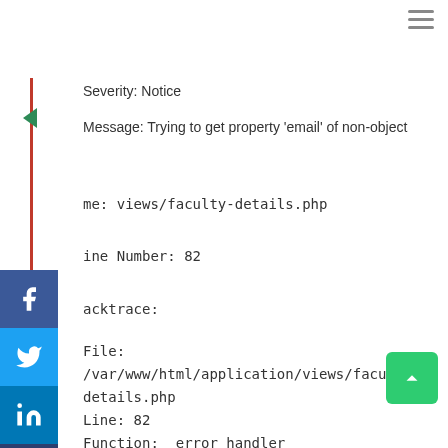Severity: Notice
Message: Trying to get property 'email' of non-object
me: views/faculty-details.php
ine Number: 82
acktrace:
File: /var/www/html/application/views/faculty-details.php
Line: 82
Function: _error_handler
File: /var/www/html/application/controllers/IIEST.php
Line: 1707
Function: view
File: /var/www/html/index.php